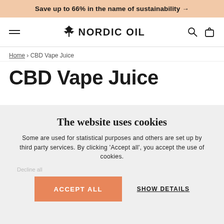Save up to 66% in the name of sustainability →
[Figure (screenshot): Nordic Oil website navigation bar with hamburger menu, Nordic Oil logo with cannabis leaf icon, search icon, and shopping bag icon]
Home › CBD Vape Juice
CBD Vape Juice
The website uses cookies
Some are used for statistical purposes and others are set up by third party services. By clicking 'Accept all', you accept the use of cookies.
Decline all
ACCEPT ALL
SHOW DETAILS